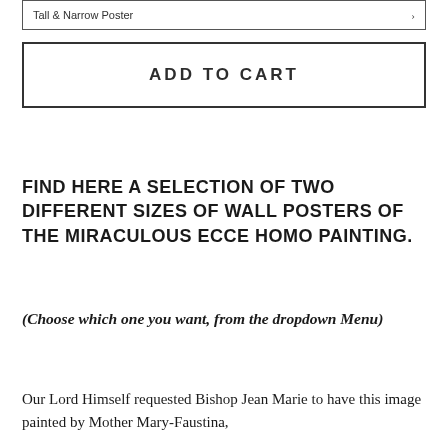Tall & Narrow Poster
ADD TO CART
FIND HERE A SELECTION OF TWO DIFFERENT SIZES OF WALL POSTERS OF THE MIRACULOUS ECCE HOMO PAINTING.
(Choose which one you want, from the dropdown Menu)
Our Lord Himself requested Bishop Jean Marie to have this image painted by Mother Mary-Faustina,